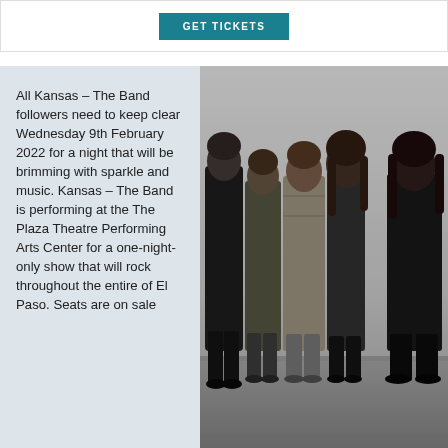[Figure (other): GET TICKETS button (teal/dark cyan background with white uppercase text)]
All Kansas – The Band followers need to keep clear Wednesday 9th February 2022 for a night that will be brimming with sparkle and music. Kansas – The Band is performing at the The Plaza Theatre Performing Arts Center for a one-night-only show that will rock throughout the entire of El Paso. Seats are on sale
[Figure (photo): Black and white photograph of the band Kansas — five members with long hair standing outdoors in a field, wearing 1970s-style clothing]